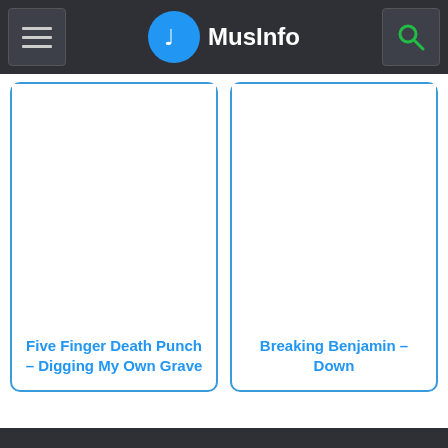MusInfo
Five Finger Death Punch – Digging My Own Grave
Breaking Benjamin – Down